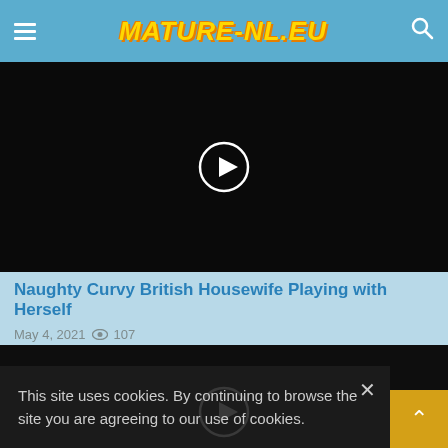MATURE-NL.EU
[Figure (screenshot): Black video thumbnail with white play button circle in the upper left quadrant]
Naughty Curvy British Housewife Playing with Herself
May 4, 2021  107
[Figure (screenshot): Black video thumbnail with white play button circle centered]
This site uses cookies. By continuing to browse the site you are agreeing to our use of cookies.